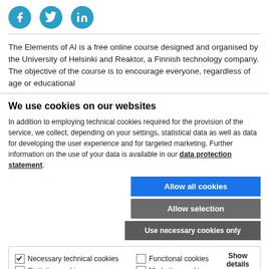[Figure (illustration): Three social media icons: Facebook (f), Twitter (bird), LinkedIn (in), all in teal/blue circular buttons]
The Elements of AI is a free online course designed and organised by the University of Helsinki and Reaktor, a Finnish technology company. The objective of the course is to encourage everyone, regardless of age or educational
We use cookies on our websites
In addition to employing technical cookies required for the provision of the service, we collect, depending on your settings, statistical data as well as data for developing the user experience and for targeted marketing. Further information on the use of your data is available in our data protection statement.
Allow all cookies
Allow selection
Use necessary cookies only
Necessary technical cookies  Functional cookies  Statistics cookies  Marketing cookies  Show details